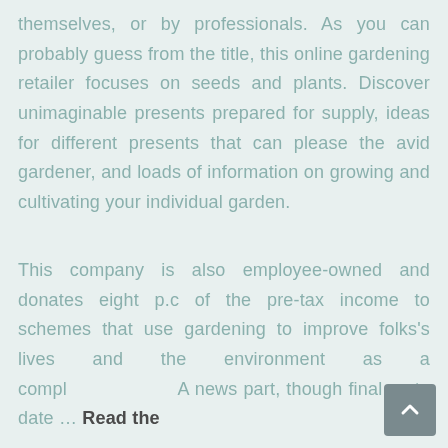themselves, or by professionals. As you can probably guess from the title, this online gardening retailer focuses on seeds and plants. Discover unimaginable presents prepared for supply, ideas for different presents that can please the avid gardener, and loads of information on growing and cultivating your individual garden.
This company is also employee-owned and donates eight p.c of the pre-tax income to schemes that use gardening to improve folks's lives and the environment as a comple... A news part, though final up to date ... Read the